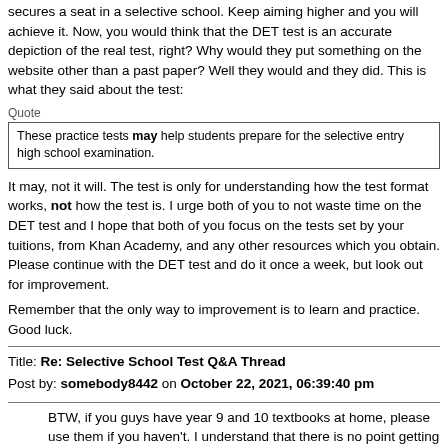secures a seat in a selective school. Keep aiming higher and you will achieve it. Now, you would think that the DET test is an accurate depiction of the real test, right? Why would they put something on the website other than a past paper? Well they would and they did. This is what they said about the test:
Quote
These practice tests may help students prepare for the selective entry high school examination.
It may, not it will. The test is only for understanding how the test format works, not how the test is. I urge both of you to not waste time on the DET test and I hope that both of you focus on the tests set by your tuitions, from Khan Academy, and any other resources which you obtain. Please continue with the DET test and do it once a week, but look out for improvement.
Remember that the only way to improvement is to learn and practice. Good luck.
Title: Re: Selective School Test Q&A Thread
Post by: somebody8442 on October 22, 2021, 06:39:40 pm
BTW, if you guys have year 9 and 10 textbooks at home, please use them if you haven't. I understand that there is no point getting one now but Khan academy looks good.
Title: Re: Selective School Test Q&A Thread